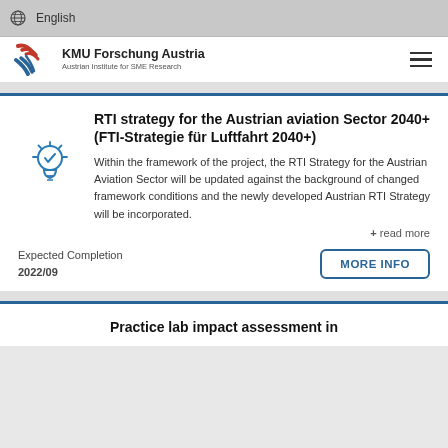English
[Figure (logo): KMU Forschung Austria logo with red and blue stylized K, text: KMU Forschung Austria, Austrian Institute for SME Research]
RTI strategy for the Austrian aviation Sector 2040+ (FTI-Strategie für Luftfahrt 2040+)
Within the framework of the project, the RTI Strategy for the Austrian Aviation Sector will be updated against the background of changed framework conditions and the newly developed Austrian RTI Strategy will be incorporated.
+ read more
Expected Completion
2022/09
MORE INFO
Practice lab impact assessment in